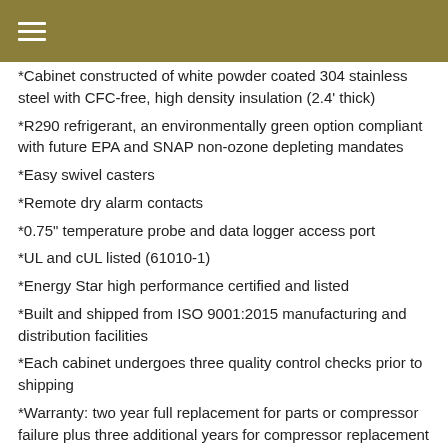*Cabinet constructed of white powder coated 304 stainless steel with CFC-free, high density insulation (2.4' thick)
*R290 refrigerant, an environmentally green option compliant with future EPA and SNAP non-ozone depleting mandates
*Easy swivel casters
*Remote dry alarm contacts
*0.75" temperature probe and data logger access port
*UL and cUL listed (61010-1)
*Energy Star high performance certified and listed
*Built and shipped from ISO 9001:2015 manufacturing and distribution facilities
*Each cabinet undergoes three quality control checks prior to shipping
*Warranty: two year full replacement for parts or compressor failure plus three additional years for compressor replacement
Related products